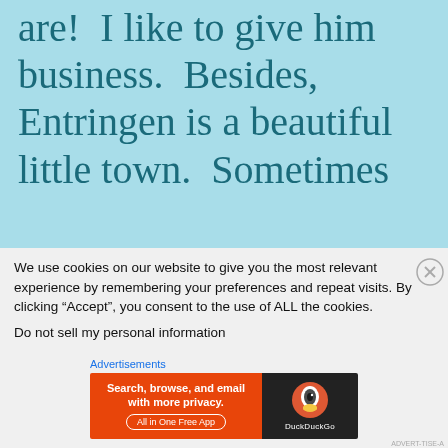are!  I like to give him business.  Besides, Entringen is a beautiful little town.  Sometimes
We use cookies on our website to give you the most relevant experience by remembering your preferences and repeat visits. By clicking “Accept”, you consent to the use of ALL the cookies.
Do not sell my personal information
Advertisements
[Figure (infographic): DuckDuckGo advertisement banner: orange section with text 'Search, browse, and email with more privacy.' and 'All in One Free App', dark section with DuckDuckGo duck logo and brand name.]